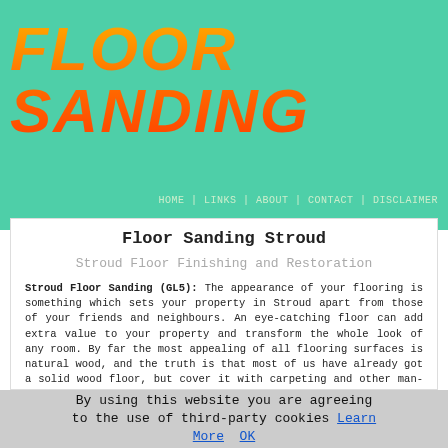FLOOR SANDING
HOME | LINKS | ABOUT | CONTACT | DISCLAIMER
Floor Sanding Stroud
Stroud Floor Finishing and Restoration
Stroud Floor Sanding (GL5): The appearance of your flooring is something which sets your property in Stroud apart from those of your friends and neighbours. An eye-catching floor can add extra value to your property and transform the whole look of any room. By far the most appealing of all flooring surfaces is natural wood, and the truth is that most of us have already got a solid wood floor, but cover it with carpeting and other man-made materials. Having your existing hardwood floor sanded down, sealed and finished is the simple way to get that floor you have always dreamt of.
By using this website you are agreeing to the use of third-party cookies Learn More OK